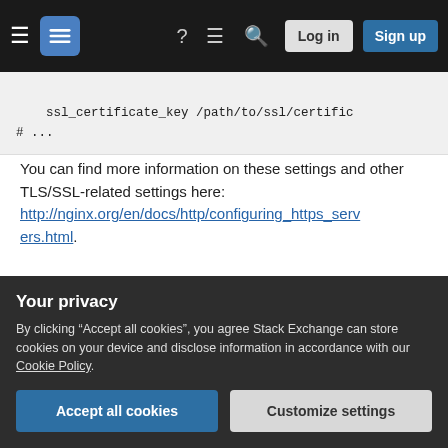Navigation bar with hamburger menu, logo, icons, Log in and Sign up buttons
ssl_certificate_key /path/to/ssl/certific
# ...
You can find more information on these settings and other TLS/SSL-related settings here: http://nginx.org/en/docs/http/configuring_https_servers.html.
issue i currently have and we need more backend web servers to handle the traffic, is it possible to scale the NGINX proxy as
Your privacy
By clicking “Accept all cookies”, you agree Stack Exchange can store cookies on your device and disclose information in accordance with our Cookie Policy.
availability) and you only have one public IP